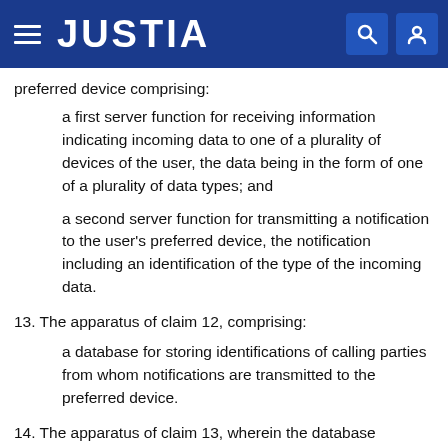JUSTIA
preferred device comprising:
a first server function for receiving information indicating incoming data to one of a plurality of devices of the user, the data being in the form of one of a plurality of data types; and
a second server function for transmitting a notification to the user's preferred device, the notification including an identification of the type of the incoming data.
13. The apparatus of claim 12, comprising:
a database for storing identifications of calling parties from whom notifications are transmitted to the preferred device.
14. The apparatus of claim 13, wherein the database